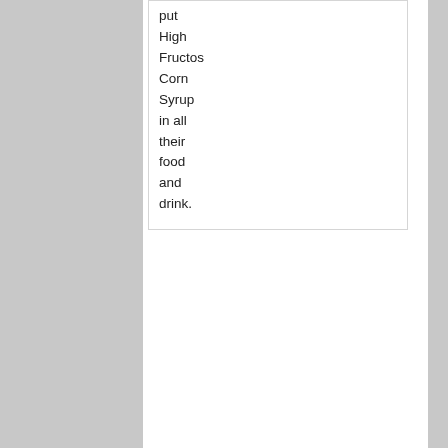put High Fructose Corn Syrup in all their food and drink.
[Figure (photo): Generic user avatar placeholder - grey silhouette of a person on grey background]
Fe Bu Aug 27, 201 at 9:2 pm
True. I love Coca Cola in German tastes